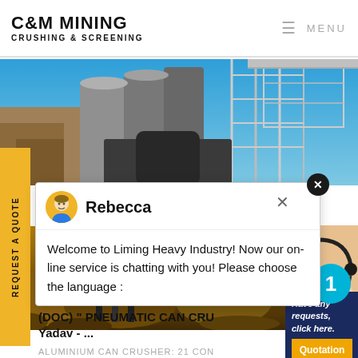C&M MINING CRUSHING & SCREENING | MENU
[Figure (photo): Outdoor photo of mining crushing and screening equipment under blue sky, with metal structures, silos and scaffolding visible]
[Figure (photo): Mining ground-level photo showing heavy equipment and excavated terrain with orange/brown earth tones]
[Figure (screenshot): Chat popup from Liming Heavy Industry with avatar of Rebecca, showing welcome message asking user to choose language. Close buttons visible. Operator image with number badge 1.]
Welcome to Liming Heavy Industry! Now our on-line service is chatting with you! Please choose the language :
Have any requests, click here.
Quotation
(DOC) " PNEUMATIC CAN CRU Yadav - ...
ALUMINIUM CAN CRUSHER: 21 CON
REQUEST A QUOTE